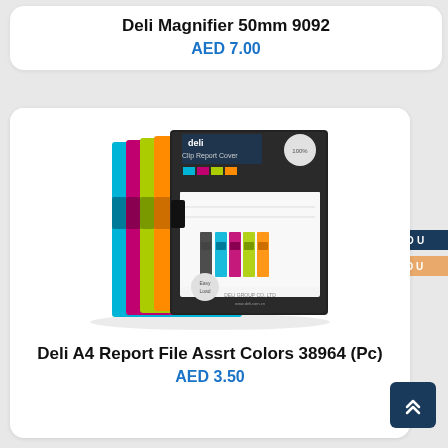Deli Magnifier 50mm 9092
AED 7.00
[Figure (photo): Stack of Deli Clip Report Covers in assorted colors (black, cyan/blue, pink/magenta, green, orange) with product packaging showing 'deli Clip Report Cover' branding, A4 size]
Deli A4 Report File Assrt Colors 38964 (Pc)
AED 3.50